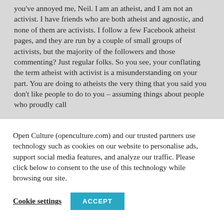you've annoyed me, Neil. I am an atheist, and I am not an activist. I have friends who are both atheist and agnostic, and none of them are activists. I follow a few Facebook atheist pages, and they are run by a couple of small groups of activists, but the majority of the followers and those commenting? Just regular folks. So you see, your conflating the term atheist with activist is a misunderstanding on your part. You are doing to atheists the very thing that you said you don't like people to do to you – assuming things about people who proudly call
Open Culture (openculture.com) and our trusted partners use technology such as cookies on our website to personalise ads, support social media features, and analyze our traffic. Please click below to consent to the use of this technology while browsing our site.
Cookie settings
ACCEPT